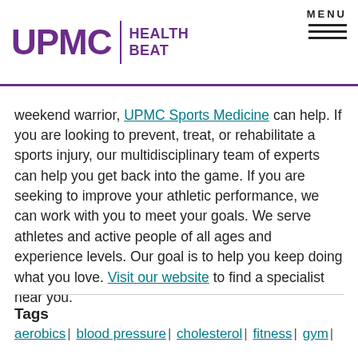UPMC | HEALTH BEAT
weekend warrior, UPMC Sports Medicine can help. If you are looking to prevent, treat, or rehabilitate a sports injury, our multidisciplinary team of experts can help you get back into the game. If you are seeking to improve your athletic performance, we can work with you to meet your goals. We serve athletes and active people of all ages and experience levels. Our goal is to help you keep doing what you love. Visit our website to find a specialist near you.
Tags
aerobics | blood pressure | cholesterol | fitness | gym |